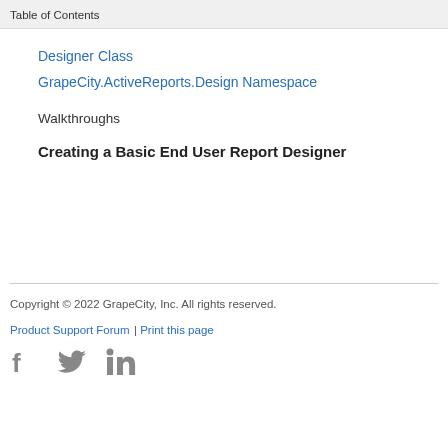Table of Contents
Designer Class
GrapeCity.ActiveReports.Design Namespace
Walkthroughs
Creating a Basic End User Report Designer
Copyright © 2022 GrapeCity, Inc. All rights reserved.
Product Support Forum | Print this page
[Figure (other): Social media icons: Facebook, Twitter, LinkedIn]